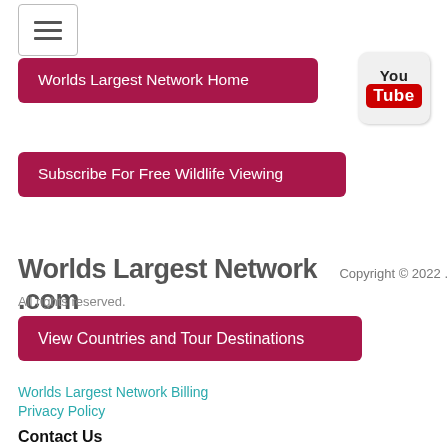[Figure (other): Hamburger menu button icon with three horizontal lines]
Worlds Largest Network Home
[Figure (logo): YouTube logo icon with 'You' text above red Tube button]
Subscribe For Free Wildlife Viewing
Worlds Largest Network .com  Copyright © 2022 .
All rights reserved.
View Countries and Tour Destinations
Worlds Largest Network Billing
Privacy Policy
Contact Us
tours@worldslargestnetwork.com
7 Days a Week: 6am-11pm
Thank You for Visiting Worlds Largest Network